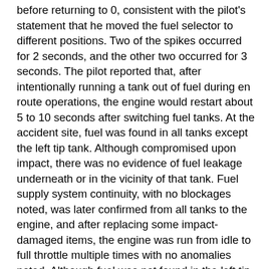before returning to 0, consistent with the pilot's statement that he moved the fuel selector to different positions. Two of the spikes occurred for 2 seconds, and the other two occurred for 3 seconds. The pilot reported that, after intentionally running a tank out of fuel during en route operations, the engine would restart about 5 to 10 seconds after switching fuel tanks. At the accident site, fuel was found in all tanks except the left tip tank. Although compromised upon impact, there was no evidence of fuel leakage underneath or in the vicinity of that tank. Fuel supply system continuity, with no blockages noted, was later confirmed from all tanks to the engine, and after replacing some impact-damaged items, the engine was run from idle to full throttle multiple times with no anomalies noted. Although fuel was not found in the left tip tank at the accident site, a small amount was likely still present when the pilot initiated the climb after the missed approach, which then sloshed toward the aft end of the tank, unporting the fuel pickup. This introduced air into the engine fuel supply, which led to the loss of engine power. The lack of fuel found in the left tip tank, the absence of anomalies noted in either the fuel supply system or when the engine was test run, the